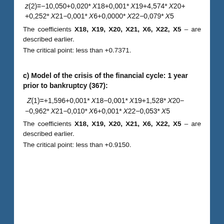The coefficients X18, X19, X20, X21, X6, X22, X5 – are described earlier.
The critical point: less than +0.7371.
c) Model of the crisis of the financial cycle: 1 year prior to bankruptcy (367):
The coefficients X18, X19, X20, X21, X6, X22, X5 – are described earlier.
The critical point: less than +0.9150.